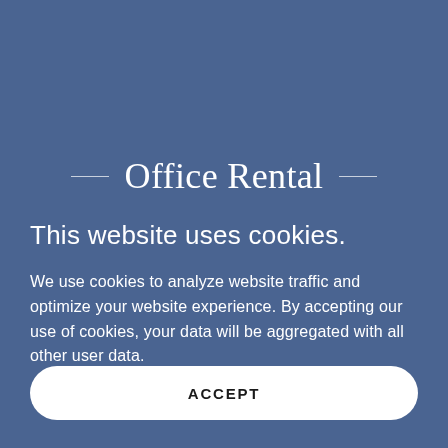Office Rental
This website uses cookies.
We use cookies to analyze website traffic and optimize your website experience. By accepting our use of cookies, your data will be aggregated with all other user data.
ACCEPT